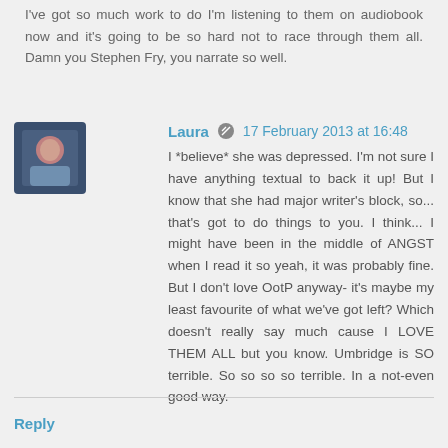I've got so much work to do I'm listening to them on audiobook now and it's going to be so hard not to race through them all. Damn you Stephen Fry, you narrate so well.
Laura  17 February 2013 at 16:48
I *believe* she was depressed. I'm not sure I have anything textual to back it up! But I know that she had major writer's block, so... that's got to do things to you. I think... I might have been in the middle of ANGST when I read it so yeah, it was probably fine. But I don't love OotP anyway- it's maybe my least favourite of what we've got left? Which doesn't really say much cause I LOVE THEM ALL but you know. Umbridge is SO terrible. So so so so terrible. In a not-even good way.
Reply